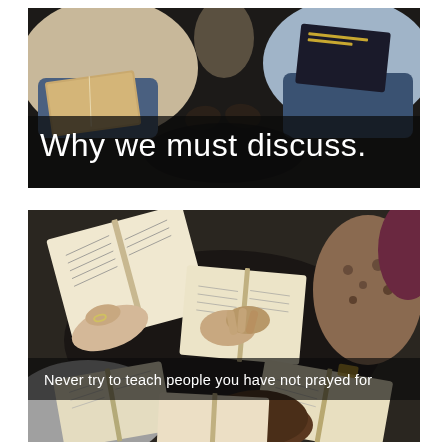[Figure (photo): Top image showing people seated, holding Bibles on their laps, viewed from above/front. Dark overlay band at bottom with white title text 'Why we must discuss.']
Why we must discuss.
[Figure (photo): Bottom image showing a group of people gathered around a table with open Bibles, praying/studying together, viewed from above. Semi-transparent dark band in the middle with caption text.]
Never try to teach people you have not prayed for